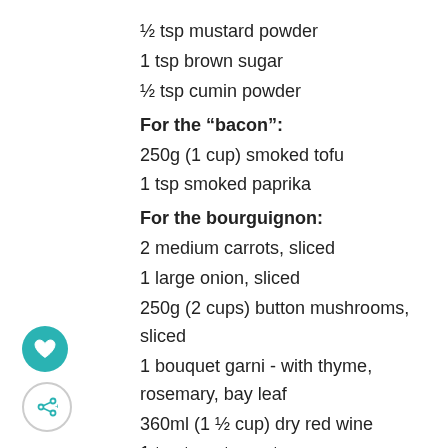½ tsp mustard powder
1 tsp brown sugar
½ tsp cumin powder
For the “bacon”:
250g (1 cup) smoked tofu
1 tsp smoked paprika
For the bourguignon:
2 medium carrots, sliced
1 large onion, sliced
250g (2 cups) button mushrooms, sliced
1 bouquet garni - with thyme, rosemary, bay leaf
360ml (1 ½ cup) dry red wine
1 tsp tomato paste
2 cloves garlic, crushed
240ml (1 cup) vegetable broth